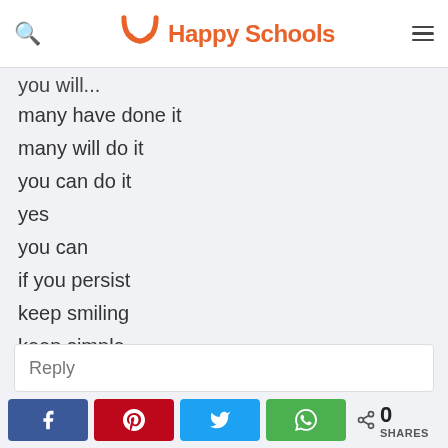Happy Schools
you will...
many have done it
many will do it
you can do it
yes
you can
if you persist
keep smiling
keep simple
keep loving to work
love and blessings
easwaran
Reply